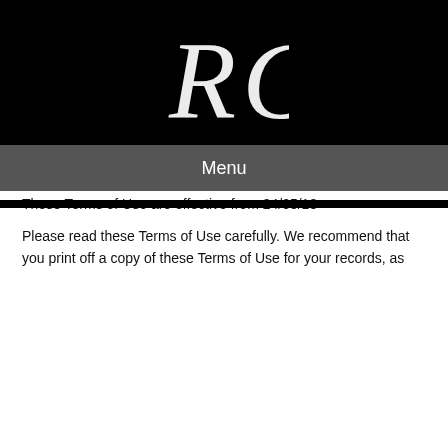[Figure (logo): Stylized handwritten 'RG' logo in white on black background]
Menu
Terms And Conditions
These Terms of Use, and any documents referred to herein, set out the terms and conditions on which you are permitted to use our website, redgateinn.co.uk (our website). By using our website, you agree to be bound by, and to comply with, these Terms of Use.
These Terms of Use are effective from 24/05/18
Please read these Terms of Use carefully. We recommend that you print off a copy of these Terms of Use for your records, as